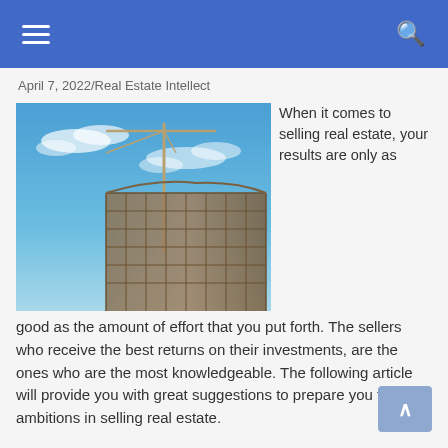Navigation bar with hamburger menu and search icon
April 7, 2022/Real Estate Intellect
[Figure (photo): Construction site photo showing a tall building under construction with scaffolding and a crane against a blue sky with clouds]
When it comes to selling real estate, your results are only as good as the amount of effort that you put forth. The sellers who receive the best returns on their investments, are the ones who are the most knowledgeable. The following article will provide you with great suggestions to prepare you for your ambitions in selling real estate.